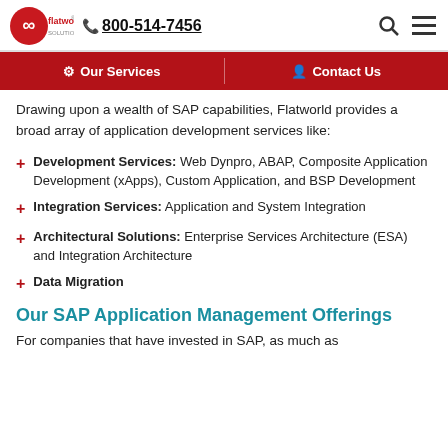flatworld solutions | 800-514-7456
[Figure (logo): Flatworld Solutions logo with infinity symbol and phone number 800-514-7456]
Our Services | Contact Us (navigation bar)
Drawing upon a wealth of SAP capabilities, Flatworld provides a broad array of application development services like:
Development Services: Web Dynpro, ABAP, Composite Application Development (xApps), Custom Application, and BSP Development
Integration Services: Application and System Integration
Architectural Solutions: Enterprise Services Architecture (ESA) and Integration Architecture
Data Migration
Our SAP Application Management Offerings
For companies that have invested in SAP, as much as